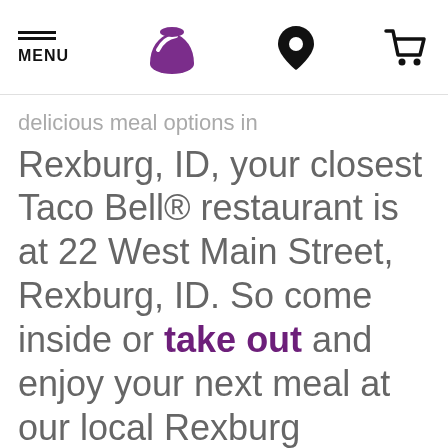MENU | Taco Bell logo | Location icon | Cart icon
delicious meal options in Rexburg, ID, your closest Taco Bell® restaurant is at 22 West Main Street, Rexburg, ID. So come inside or take out and enjoy your next meal at our local Rexburg restaurant location. Looking for other amazing fast food